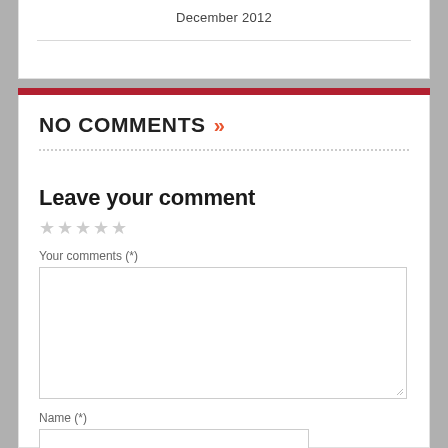December 2012
NO COMMENTS »
Leave your comment
★★★★★
Your comments (*)
Name (*)